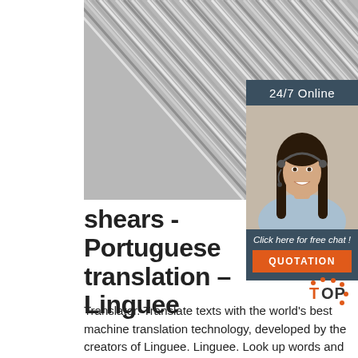[Figure (photo): Close-up photo of diagonal metallic wires or cables in silver/grey tones, filling the upper portion of the page]
[Figure (photo): Sidebar advertisement panel with dark blue-grey background showing '24/7 Online' text at top, photo of a smiling woman with headset in the middle, 'Click here for free chat!' italic text and an orange 'QUOTATION' button at the bottom]
shears - Portuguese translation – Linguee
Translator. Translate texts with the world's best machine translation technology, developed by the creators of Linguee. Linguee. Look up words and phrases in comprehensive, reliable bilingual dictionaries and search through billions of online